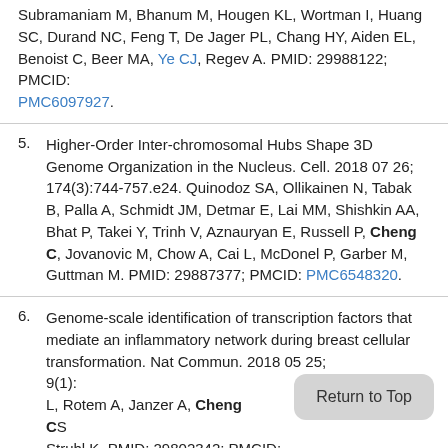Subramaniam M, Bhanum M, Hougen KL, Wortman I, Huang SC, Durand NC, Feng T, De Jager PL, Chang HY, Aiden EL, Benoist C, Beer MA, Ye CJ, Regev A. PMID: 29988122; PMCID: PMC6097927.
5. Higher-Order Inter-chromosomal Hubs Shape 3D Genome Organization in the Nucleus. Cell. 2018 07 26; 174(3):744-757.e24. Quinodoz SA, Ollikainen N, Tabak B, Palla A, Schmidt JM, Detmar E, Lai MM, Shishkin AA, Bhat P, Takei Y, Trinh V, Aznauryan E, Russell P, Cheng C, Jovanovic M, Chow A, Cai L, McDonel P, Garber M, Guttman M. PMID: 29887377; PMCID: PMC6548320.
6. Genome-scale identification of transcription factors that mediate an inflammatory network during breast cellular transformation. Nat Commun. 2018 05 25; 9(1):... L, Rotem A, Janzer A, Cheng CS... Struhl K. PMID: 29802342; PMCID: PMC...